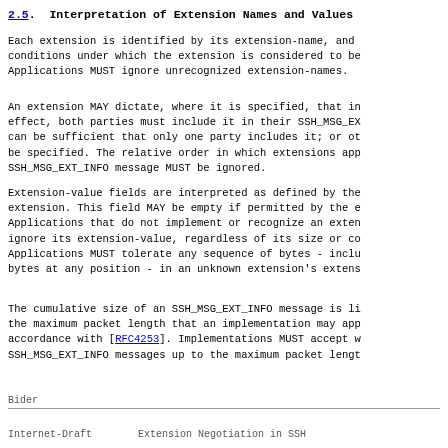2.5. Interpretation of Extension Names and Values
Each extension is identified by its extension-name, and conditions under which the extension is considered to be Applications MUST ignore unrecognized extension-names.
An extension MAY dictate, where it is specified, that in effect, both parties must include it in their SSH_MSG_EX can be sufficient that only one party includes it; or ot be specified. The relative order in which extensions app SSH_MSG_EXT_INFO message MUST be ignored.
Extension-value fields are interpreted as defined by the extension. This field MAY be empty if permitted by the e Applications that do not implement or recognize an exten ignore its extension-value, regardless of its size or co Applications MUST tolerate any sequence of bytes - inclu bytes at any position - in an unknown extension's extens
The cumulative size of an SSH_MSG_EXT_INFO message is li the maximum packet length that an implementation may app accordance with [RFC4253]. Implementations MUST accept w SSH_MSG_EXT_INFO messages up to the maximum packet lengt
Bider
Internet-Draft          Extension Negotiation in SSH